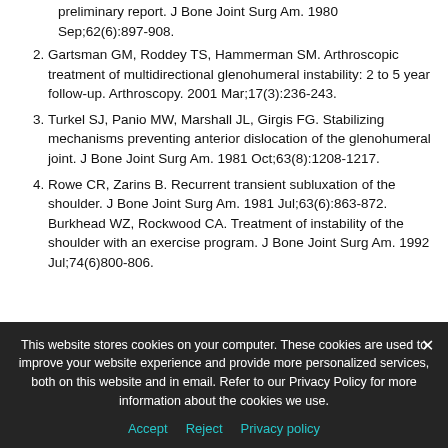preliminary report. J Bone Joint Surg Am. 1980 Sep;62(6):897-908.
2. Gartsman GM, Roddey TS, Hammerman SM. Arthroscopic treatment of multidirectional glenohumeral instability: 2 to 5 year follow-up. Arthroscopy. 2001 Mar;17(3):236-243.
3. Turkel SJ, Panio MW, Marshall JL, Girgis FG. Stabilizing mechanisms preventing anterior dislocation of the glenohumeral joint. J Bone Joint Surg Am. 1981 Oct;63(8):1208-1217.
4. Rowe CR, Zarins B. Recurrent transient subluxation of the shoulder. J Bone Joint Surg Am. 1981 Jul;63(6):863-872. Burkhead WZ, Rockwood CA. Treatment of instability of the shoulder with an exercise program. J Bone Joint Surg Am. 1992 Jul;74(6)800-806.
This website stores cookies on your computer. These cookies are used to improve your website experience and provide more personalized services, both on this website and in email. Refer to our Privacy Policy for more information about the cookies we use.